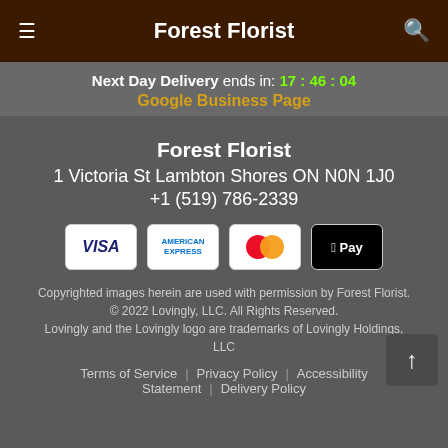Forest Florist
Next Day Delivery ends in: 17 : 46 : 04
Google Business Page
Forest Florist
1 Victoria St Lambton Shores ON N0N 1J0
+1 (519) 786-2339
[Figure (other): Payment method icons: VISA, American Express, Mastercard, Apple Pay]
Copyrighted images herein are used with permission by Forest Florist. © 2022 Lovingly, LLC. All Rights Reserved. Lovingly and the Lovingly logo are trademarks of Lovingly Holdings, LLC
Terms of Service | Privacy Policy | Accessibility Statement | Delivery Policy